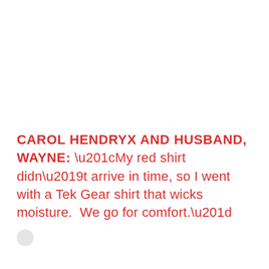CAROL HENDRYX AND HUSBAND, WAYNE: “My red shirt didn’t arrive in time, so I went with a Tek Gear shirt that wicks moisture. We go for comfort.”